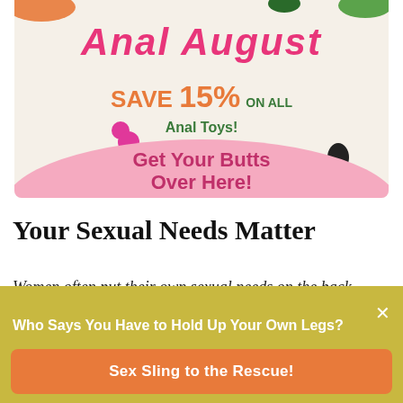[Figure (illustration): Promotional advertisement banner with cream background. Text reads 'Anal August SAVE 15% on ALL Anal Toys! Get Your Butts Over Here!' with decorative toy illustrations and a pink hill shape at the bottom.]
Your Sexual Needs Matter
Women often put their own sexual needs on the back
Who Says You Have to Hold Up Your Own Legs?
Sex Sling to the Rescue!